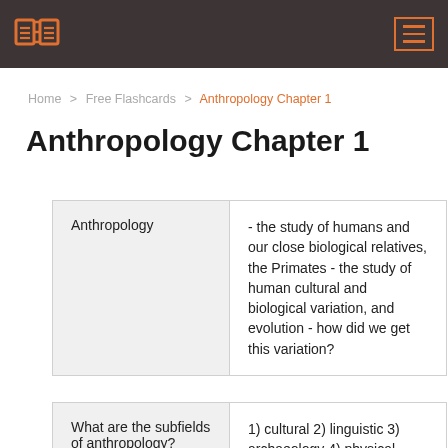Anthropology Chapter 1
Home > Free Flashcards > Anthropology Chapter 1
Anthropology Chapter 1
| Anthropology | - the study of humans and our close biological relatives, the Primates - the study of human cultural and biological variation, and evolution - how did we get this variation? |
| What are the subfields of anthropology? | 1) cultural 2) linguistic 3) archaeology 4) physical |